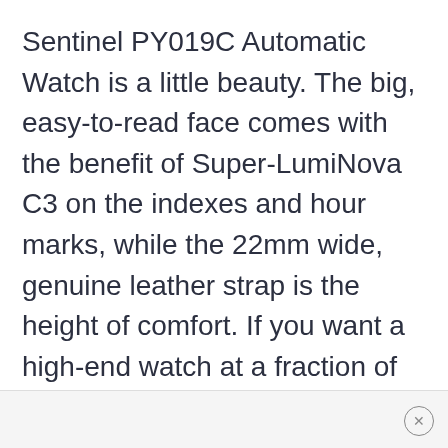Sentinel PY019C Automatic Watch is a little beauty. The big, easy-to-read face comes with the benefit of Super-LumiNova C3 on the indexes and hour marks, while the 22mm wide, genuine leather strap is the height of comfort. If you want a high-end watch at a fraction of the usual price, this $349 Phoibos classic is a must-buy.